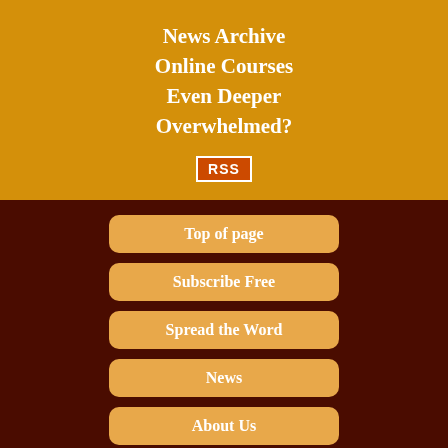News Archive
Online Courses
Even Deeper
Overwhelmed?
[Figure (logo): RSS badge/button in orange with white border and white text 'RSS']
Top of page
Subscribe Free
Spread the Word
News
About Us
Contact Us
Donate